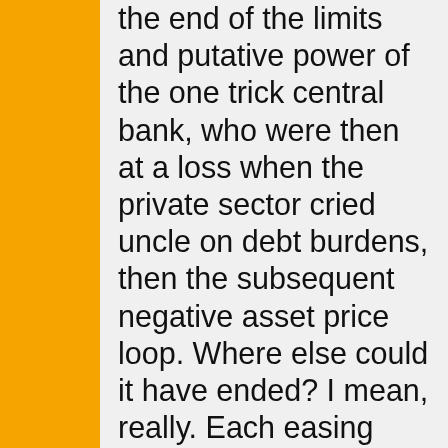the end of the limits and putative power of the one trick central bank, who were then at a loss when the private sector cried uncle on debt burdens, then the subsequent negative asset price loop. Where else could it have ended? I mean, really. Each easing and re-easing episode was an exercise in pumping up private debt, which was generally suffering